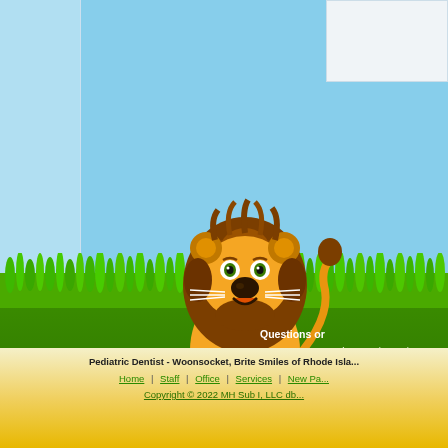[Figure (illustration): Cartoon lion mascot standing on green grass with light blue sky background, pediatric dentist website illustration]
Questions or
We encourage you have an in services.
Pediatric Dentist - Woonsocket, Brite Smiles of Rhode Isla...
Home | Staff | Office | Services | New Pa...
Copyright © 2022 MH Sub I, LLC db...